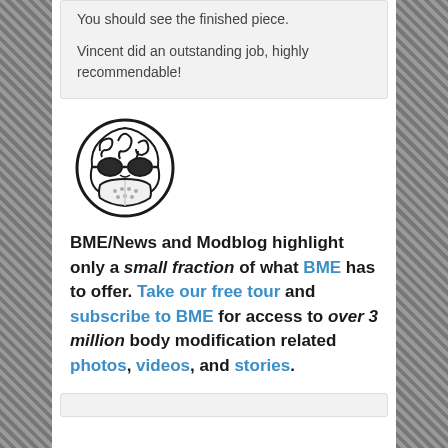You should see the finished piece.

Vincent did an outstanding job, highly recommendable!
[Figure (logo): BME tribal mask logo — circular decorative tribal face with goggles and mask]
BME/News and Modblog highlight only a small fraction of what BME has to offer. Take our free tour and subscribe to BME for access to over 3 million body modification related photos, videos, and stories.